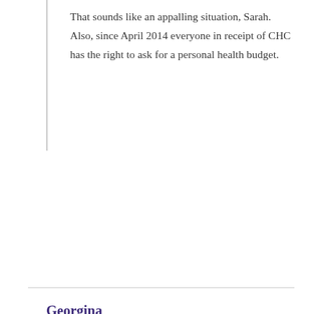That sounds like an appalling situation, Sarah. Also, since April 2014 everyone in receipt of CHC has the right to ask for a personal health budget.
Reply
Georgina
March 11, 2015 at 5:03 pm
We have been having some issues with our care package. My father needs two carers at one time to move him and our previous care package allowed us to have a one carer most days and a second to help with moving. It was